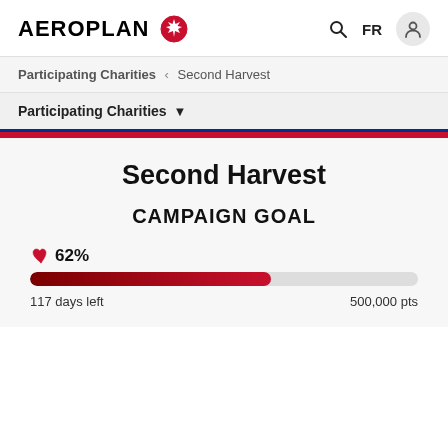AEROPLAN
Participating Charities < Second Harvest
Participating Charities
Second Harvest
CAMPAIGN GOAL
[Figure (infographic): Campaign progress bar showing 62% completion toward 500,000 points goal with 117 days left]
117 days left
500,000 pts